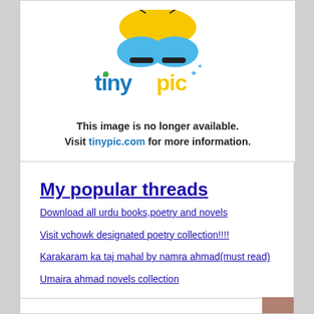[Figure (illustration): TinyPic logo placeholder image with text: 'This image is no longer available. Visit tinypic.com for more information.']
My popular threads
Download all urdu books,poetry and novels
Visit vchowk designated poetry collection!!!!
Karakaram ka taj mahal by namra ahmad(must read)
Umaira ahmad novels collection